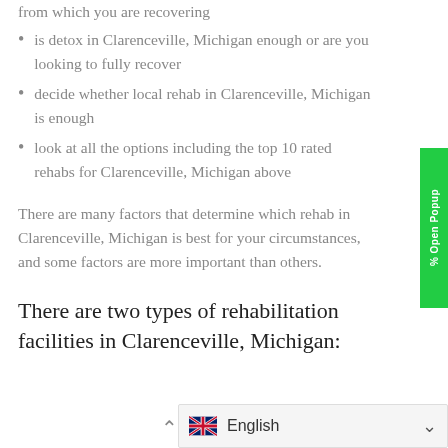from which you are recovering
is detox in Clarenceville, Michigan enough or are you looking to fully recover
decide whether local rehab in Clarenceville, Michigan is enough
look at all the options including the top 10 rated rehabs for Clarenceville, Michigan above
There are many factors that determine which rehab in Clarenceville, Michigan is best for your circumstances, and some factors are more important than others.
There are two types of rehabilitation facilities in Clarenceville, Michigan: